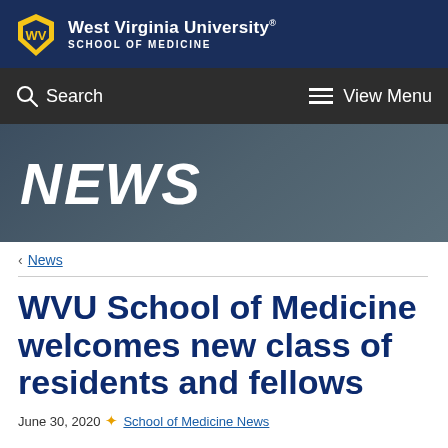West Virginia University School of Medicine
Search | View Menu
NEWS
< News
WVU School of Medicine welcomes new class of residents and fellows
June 30, 2020 · School of Medicine News